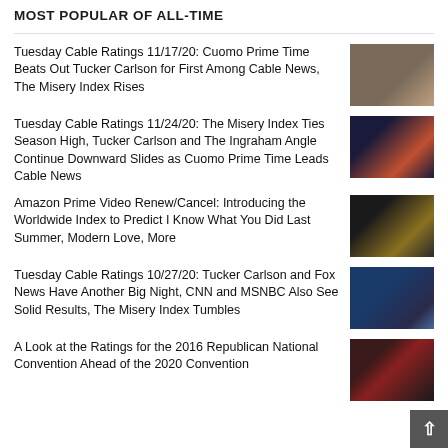MOST POPULAR OF ALL-TIME
Tuesday Cable Ratings 11/17/20: Cuomo Prime Time Beats Out Tucker Carlson for First Among Cable News, The Misery Index Rises
[Figure (photo): TV screenshot of news broadcast, two people visible]
Tuesday Cable Ratings 11/24/20: The Misery Index Ties Season High, Tucker Carlson and The Ingraham Angle Continue Downward Slides as Cuomo Prime Time Leads Cable News
[Figure (photo): TV screenshot of woman in red dress on stage]
Amazon Prime Video Renew/Cancel: Introducing the Worldwide Index to Predict I Know What You Did Last Summer, Modern Love, More
[Figure (photo): Promotional image for I Know What You Did Last Summer Amazon Original]
Tuesday Cable Ratings 10/27/20: Tucker Carlson and Fox News Have Another Big Night, CNN and MSNBC Also See Solid Results, The Misery Index Tumbles
[Figure (photo): TV screenshot of political figure speaking at podium]
A Look at the Ratings for the 2016 Republican National Convention Ahead of the 2020 Convention
[Figure (photo): Photo of Republican National Convention crowd]